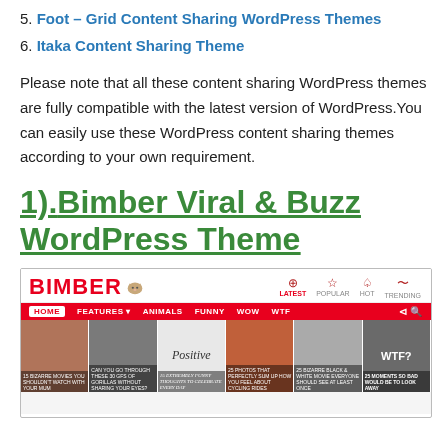5. Foot – Grid Content Sharing WordPress Themes
6. Itaka Content Sharing Theme
Please note that all these content sharing WordPress themes are fully compatible with the latest version of WordPress.You can easily use these WordPress content sharing themes according to your own requirement.
1).Bimber Viral & Buzz WordPress Theme
[Figure (screenshot): Screenshot of the Bimber Viral & Buzz WordPress Theme website showing the red BIMBER logo with cat, navigation icons (Latest, Popular, Hot, Trending), red navigation bar with menu items (Home, Features, Animals, Funny, Wow, WTF), and a row of thumbnail images with captions.]